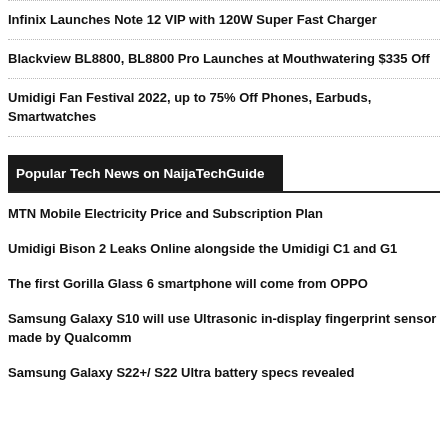Infinix Launches Note 12 VIP with 120W Super Fast Charger
Blackview BL8800, BL8800 Pro Launches at Mouthwatering $335 Off
Umidigi Fan Festival 2022, up to 75% Off Phones, Earbuds, Smartwatches
Popular Tech News on NaijaTechGuide
MTN Mobile Electricity Price and Subscription Plan
Umidigi Bison 2 Leaks Online alongside the Umidigi C1 and G1
The first Gorilla Glass 6 smartphone will come from OPPO
Samsung Galaxy S10 will use Ultrasonic in-display fingerprint sensor made by Qualcomm
Samsung Galaxy S22+/ S22 Ultra battery specs revealed